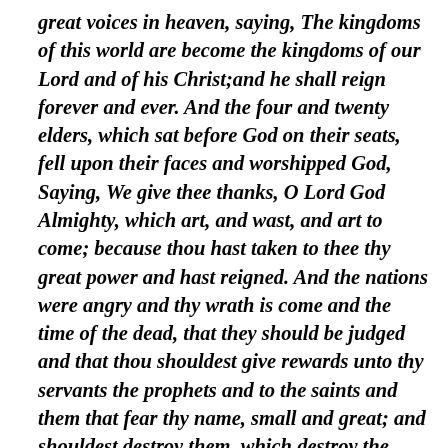great voices in heaven, saying, The kingdoms of this world are become the kingdoms of our Lord and of his Christ;and he shall reign forever and ever. And the four and twenty elders, which sat before God on their seats, fell upon their faces and worshipped God, Saying, We give thee thanks, O Lord God Almighty, which art, and wast, and art to come; because thou hast taken to thee thy great power and hast reigned. And the nations were angry and thy wrath is come and the time of the dead, that they should be judged and that thou shouldest give rewards unto thy servants the prophets and to the saints and them that fear thy name, small and great; and shouldest destroy them, which destroy the earth. And the temple of God was opened in heaven and there was seen in